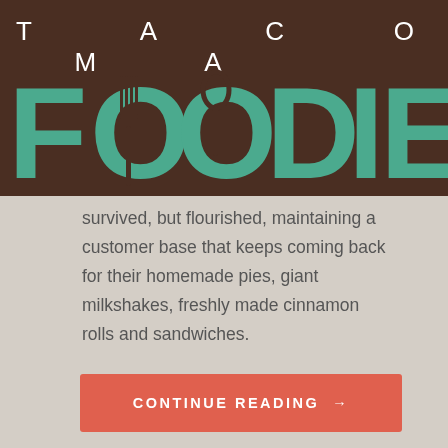TACOMA FOODIE
survived, but flourished, maintaining a customer base that keeps coming back for their homemade pies, giant milkshakes, freshly made cinnamon rolls and sandwiches.
CONTINUE READING →
BREAKFAST AT BABBLIN' BABS BISTRO